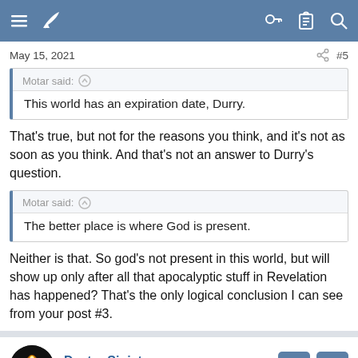Forum navigation header bar
May 15, 2021   #5
Motar said: ↑
This world has an expiration date, Durry.
That's true, but not for the reasons you think, and it's not as soon as you think. And that's not an answer to Durry's question.
Motar said: ↑
The better place is where God is present.
Neither is that. So god's not present in this world, but will show up only after all that apocalyptic stuff in Revelation has happened? That's the only logical conclusion I can see from your post #3.
Dexter Sinister
Unspecified Specialist